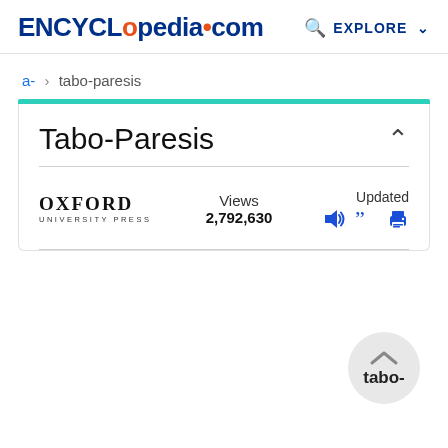ENCYCLopedia•com   EXPLORE
a- > tabo-paresis
Tabo-Paresis
OXFORD UNIVERSITY PRESS   Views 2,792,630   Updated
[Figure (other): Scroll-to-top floating button with label 'tabo-']